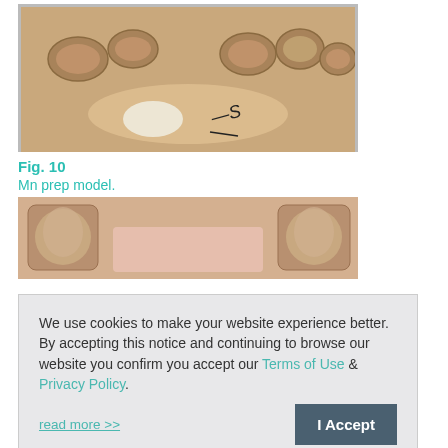[Figure (photo): Dental preparation model (maxillary arch, occlusal view) showing tooth preparations on a stone cast model with a handwritten marking visible]
Fig. 10
Mn prep model.
[Figure (photo): Dental preparation model showing anterior/buccal view of mandibular arch preparations on a stone cast]
We use cookies to make your website experience better. By accepting this notice and continuing to browse our website you confirm you accept our Terms of Use & Privacy Policy.

read more >>
Fig. 11